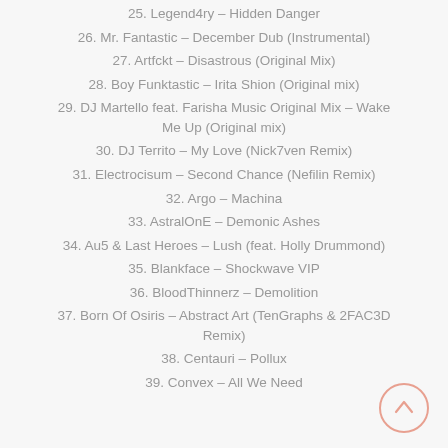25. Legend4ry – Hidden Danger
26. Mr. Fantastic – December Dub (Instrumental)
27. Artfckt – Disastrous (Original Mix)
28. Boy Funktastic – Irita Shion (Original mix)
29. DJ Martello feat. Farisha Music Original Mix – Wake Me Up (Original mix)
30. DJ Territo – My Love (Nick7ven Remix)
31. Electrocisum – Second Chance (Nefilin Remix)
32. Argo – Machina
33. AstralOnE – Demonic Ashes
34. Au5 & Last Heroes – Lush (feat. Holly Drummond)
35. Blankface – Shockwave VIP
36. BloodThinnerz – Demolition
37. Born Of Osiris – Abstract Art (TenGraphs & 2FAC3D Remix)
38. Centauri – Pollux
39. Convex – All We Need